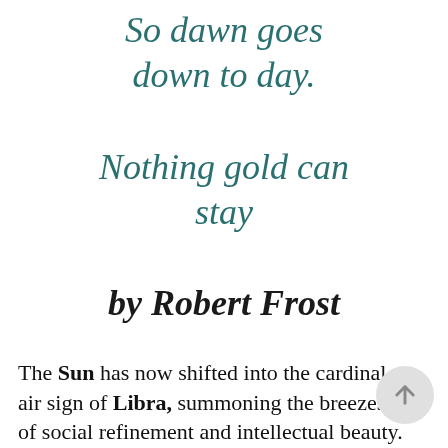So dawn goes down to day.
Nothing gold can stay
by Robert Frost
The Sun has now shifted into the cardinal air sign of Libra, summoning the breezes of social refinement and intellectual beauty.